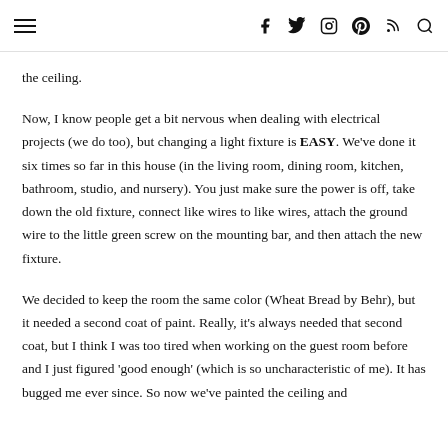≡   f  t  instagram  pinterest  rss  search
the ceiling.
Now, I know people get a bit nervous when dealing with electrical projects (we do too), but changing a light fixture is EASY. We've done it six times so far in this house (in the living room, dining room, kitchen, bathroom, studio, and nursery). You just make sure the power is off, take down the old fixture, connect like wires to like wires, attach the ground wire to the little green screw on the mounting bar, and then attach the new fixture.
We decided to keep the room the same color (Wheat Bread by Behr), but it needed a second coat of paint. Really, it's always needed that second coat, but I think I was too tired when working on the guest room before and I just figured 'good enough' (which is so uncharacteristic of me). It has bugged me ever since. So now we've painted the ceiling and